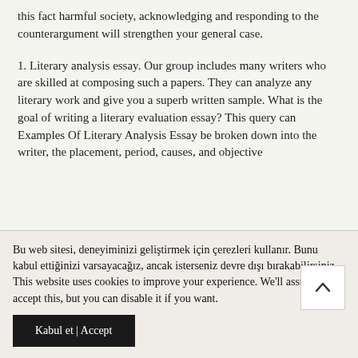this fact harmful society, acknowledging and responding to the counterargument will strengthen your general case.
1. Literary analysis essay. Our group includes many writers who are skilled at composing such a papers. They can analyze any literary work and give you a superb written sample. What is the goal of writing a literary evaluation essay? This query can Examples Of Literary Analysis Essay be broken down into the writer, the placement, period, causes, and objective
Bu web sitesi, deneyiminizi geliştirmek için çerezleri kullanır. Bunu kabul ettiğinizi varsayacağız, ancak isterseniz devre dışı bırakabilirsiniz. This website uses cookies to improve your experience. We'll assume you accept this, but you can disable it if you want.